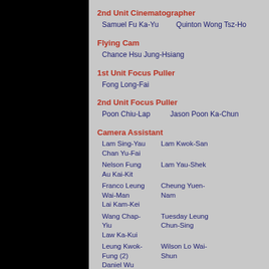2nd Unit Cinematographer
Samuel Fu Ka-Yu    Quinton Wong Tsz-Ho
Flying Cam
Chance Hsu Jung-Hsiang
1st Unit Focus Puller
Fong Long-Fai
2nd Unit Focus Puller
Poon Chiu-Lap    Jason Poon Ka-Chun
Camera Assistant
Lam Sing-Yau  Lam Kwok-San  Chan Yu-Fai
Nelson Fung  Lam Yau-Shek  Au Kai-Kit
Franco Leung Wai-Man  Cheung Yuen-Nam  Lai Kam-Kei
Wang Chap-Yiu  Tuesday Leung Chun-Sing  Law Ka-Kui
Leung Kwok-Fung (2)  Wilson Lo Wai-Shun  Daniel Wu King-Wai